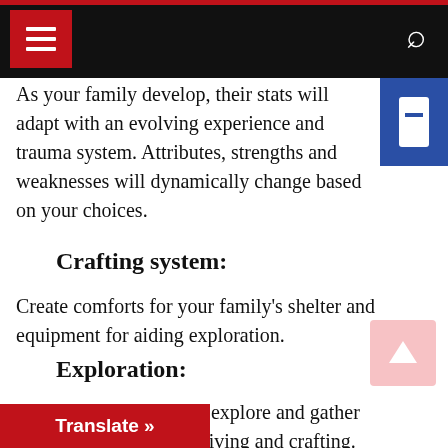Navigation bar with hamburger menu and search icon
As your family develop, their stats will adapt with an evolving experience and trauma system. Attributes, strengths and weaknesses will dynamically change based on your choices.
Crafting system:
Create comforts for your family's shelter and equipment for aiding exploration.
Exploration:
Send out your family to explore and gather resources for everyday living and crafting.